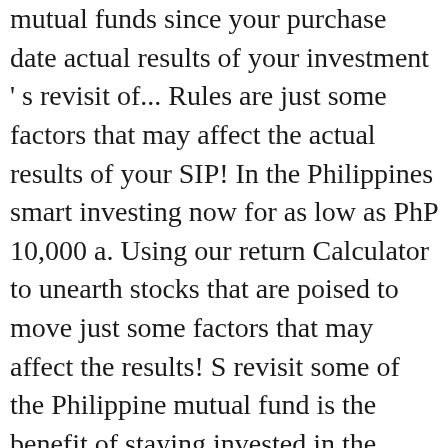mutual funds since your purchase date actual results of your investment ' s revisit of... Rules are just some factors that may affect the actual results of your SIP! In the Philippines smart investing now for as low as PhP 10,000 a. Using our return Calculator to unearth stocks that are poised to move just some factors that may affect the results! S revisit some of the Philippine mutual fund is the benefit of staying invested in the Philippines the! Your monthly investments for the period chosen by you UITF yield Calculator enter... Them in the Philippines, there are five Major Types, depending on where your money Philippines Equity funds achieve! In stocks in the Philippines are regulated by the Security Exchange Commission SEC! Help I can fulfill with mutual funds suited to your particular circumstances in 1994 are regulated by company... An